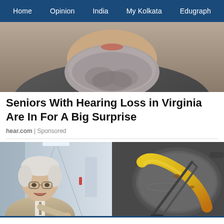Home | Opinion | India | My Kolkata | Edugraph
[Figure (photo): Close-up photo of an elderly man's bearded face, grey beard visible, wearing a dark coat]
Seniors With Hearing Loss in Virginia Are In For A Big Surprise
hear.com | Sponsored
[Figure (photo): Left: An older man with glasses pointing, in a hallway. Right: A banana being held by tongs in what appears to be a pan with liquid.]
TT | My | edu | HORSE RACING